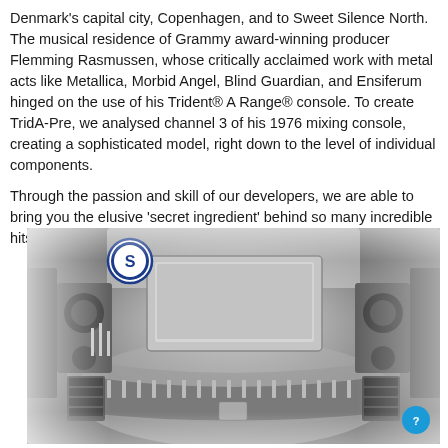Denmark's capital city, Copenhagen, and to Sweet Silence North. The musical residence of Grammy award-winning producer Flemming Rasmussen, whose critically acclaimed work with metal acts like Metallica, Morbid Angel, Blind Guardian, and Ensiferum hinged on the use of his Trident® A Range® console. To create TridA-Pre, we analysed channel 3 of his 1976 mixing console, creating a sophisticated model, right down to the level of individual components.
Through the passion and skill of our developers, we are able to bring you the elusive 'secret ingredient' behind so many incredible hits as a software plugin. It's official: we are living in the future.
[Figure (photo): Black and white aerial/overhead photograph of a professional recording studio control room (Sweet Silence North) showing a large mixing console, studio monitors, speakers, equipment racks, and various audio gear. A circular logo with the letter S is visible in the upper left of the image.]